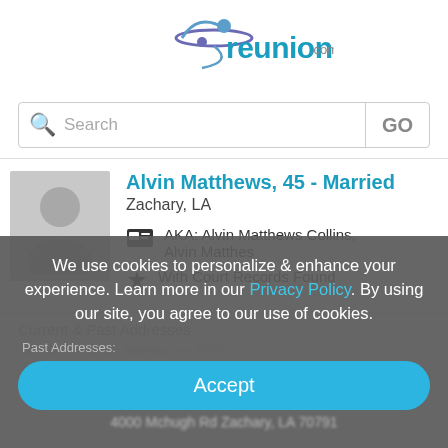[Figure (logo): reunion.com logo with teal text and purple/blue figure icon]
[Figure (screenshot): Search bar with magnifying glass icon and GO button]
[Figure (photo): Grey placeholder silhouette avatar image]
Alvin Matthews, 45 - Married
Zachary, LA
AKA: Alvin Matthews Collins, Alvin Matthes
With Court Records Found
Current & Past Addresses
We use cookies to personalize & enhance your experience. Learn more in our Privacy Policy. By using our site, you agree to our use of cookies.
Past Addresses:
Accept
4000 Mchugh Rd Zachary, LA 70791